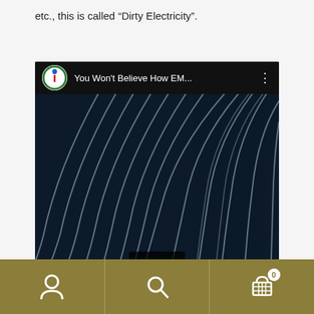etc., this is called “Dirty Electricity”.
[Figure (screenshot): YouTube video thumbnail showing 'You Won't Believe How EM...' with wave/signal patterns on dark blue background and a play button at the bottom center. Channel logo shown in top-left corner.]
Navigation bar with user icon, search icon, and shopping cart icon with badge showing 0